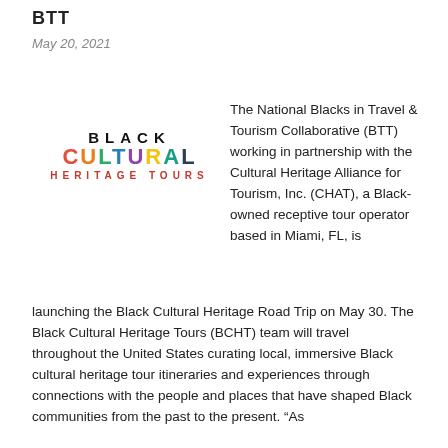BTT
May 20, 2021
[Figure (logo): Black Cultural Heritage Tours logo with 'BLACK' in bold black letters, 'CULTURAL' in multicolored letters, and 'HERITAGE TOURS' in red spaced letters]
The National Blacks in Travel & Tourism Collaborative (BTT) working in partnership with the Cultural Heritage Alliance for Tourism, Inc. (CHAT), a Black-owned receptive tour operator based in Miami, FL, is launching the Black Cultural Heritage Road Trip on May 30. The Black Cultural Heritage Tours (BCHT) team will travel throughout the United States curating local, immersive Black cultural heritage tour itineraries and experiences through connections with the people and places that have shaped Black communities from the past to the present. "As